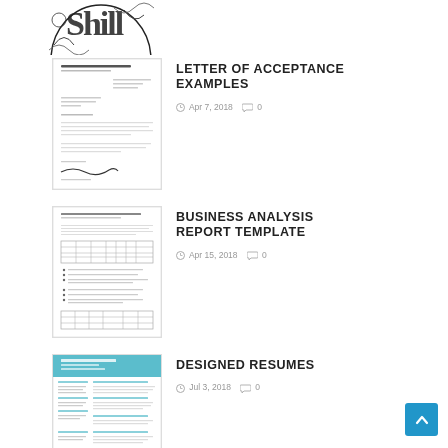[Figure (illustration): Decorative coloring-book style art with floral/food motif, partially cropped at top]
[Figure (photo): Thumbnail of a letter of acceptance document with handwritten signature]
LETTER OF ACCEPTANCE EXAMPLES
Apr 7, 2018  0
[Figure (photo): Thumbnail of a business analysis report template with tables and bullet points]
BUSINESS ANALYSIS REPORT TEMPLATE
Apr 15, 2018  0
[Figure (photo): Thumbnail of a designed resume with teal/blue header]
DESIGNED RESUMES
Jul 3, 2018  0